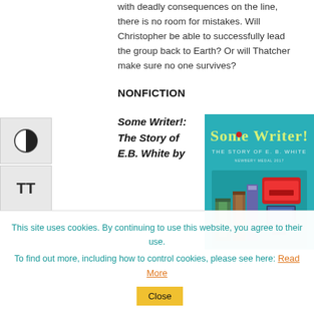with deadly consequences on the line, there is no room for mistakes. Will Christopher be able to successfully lead the group back to Earth? Or will Thatcher make sure no one survives?
NONFICTION
Some Writer!: The Story of E.B. White by
[Figure (photo): Book cover of 'Some Writer! The Story of E.B. White' featuring teal background with illustrated text and images of books and a mailbox]
This site uses cookies. By continuing to use this website, you agree to their use. To find out more, including how to control cookies, please see here: Read More  Close